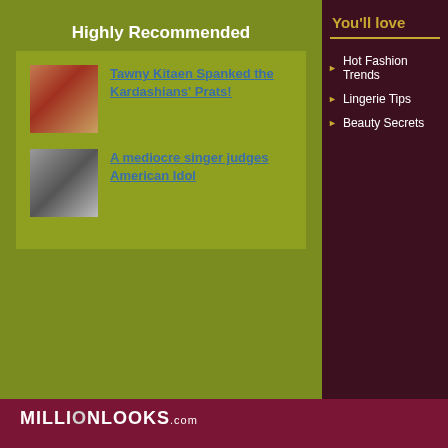Highly Recommended
[Figure (photo): Thumbnail photo of Tawny Kitaen with red curly hair]
Tawny Kitaen Spanked the Kardashians' Prats!
[Figure (photo): Thumbnail photo in black and white]
A mediocre singer judges American Idol
You'll love
Hot Fashion Trends
Lingerie Tips
Beauty Secrets
[Figure (logo): MILLIONLOOKS.com logo in white text on dark burgundy background]
1. The Absolutely Best Red Carpet Looks From 2016 Tony Awards
2. Models Gigi Hadid And Karlie Kloss Play Stylish Moms In Versace 2016 Ad Campaign
3. Models Bring Glamour To 2016 Fragrance Foundation Awards Red Carpet
4. 2016 CFDA Awards Best Red Carpet Moments
5. Princess Diana's Dresses To Sell At Auction In London
[Figure (logo): LINGERIE-WEAPON.com banner logo with pink and black background]